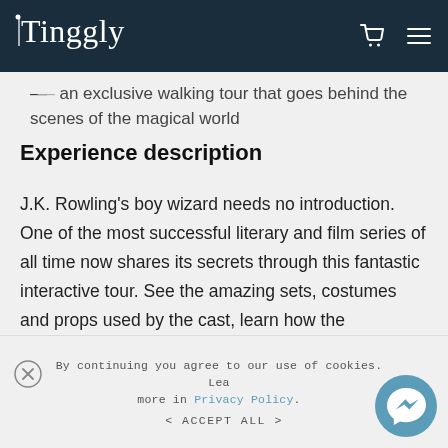Tinggly [logo] [cart icon] [menu icon]
…an exclusive walking tour that goes behind the scenes of the magical world
Experience description
J.K. Rowling's boy wizard needs no introduction. One of the most successful literary and film series of all time now shares its secrets through this fantastic interactive tour. See the amazing sets, costumes and props used by the cast, learn how the animatronic characters were created, and watch how the special effects team would bring the action on the page to
By continuing you agree to our use of cookies. Learn more in Privacy Policy. < ACCEPT ALL >